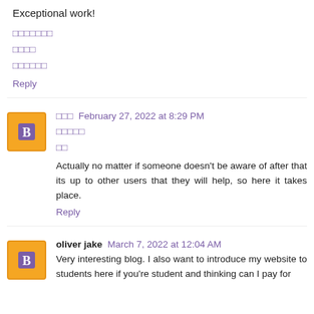Exceptional work!
□□□□□□□
□□□□
□□□□□□
Reply
□□□  February 27, 2022 at 8:29 PM
□□□□□
□□
Actually no matter if someone doesn't be aware of after that its up to other users that they will help, so here it takes place.
Reply
oliver jake  March 7, 2022 at 12:04 AM
Very interesting blog. I also want to introduce my website to students here if you're student and thinking can I pay for